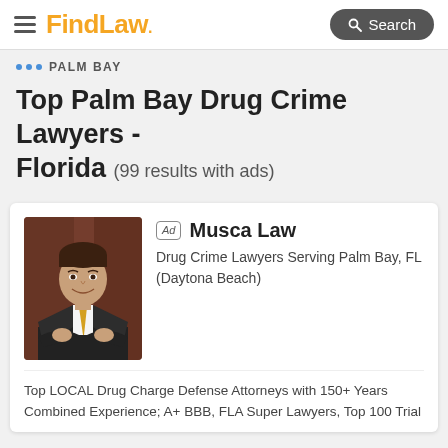FindLaw — Search
PALM BAY
Top Palm Bay Drug Crime Lawyers - Florida (99 results with ads)
Ad — Musca Law
Drug Crime Lawyers Serving Palm Bay, FL (Daytona Beach)
[Figure (photo): Professional headshot of a male attorney in a dark suit with yellow tie, arms crossed, smiling, in front of a dark wooden background]
Top LOCAL Drug Charge Defense Attorneys with 150+ Years Combined Experience; A+ BBB, FLA Super Lawyers, Top 100 Trial